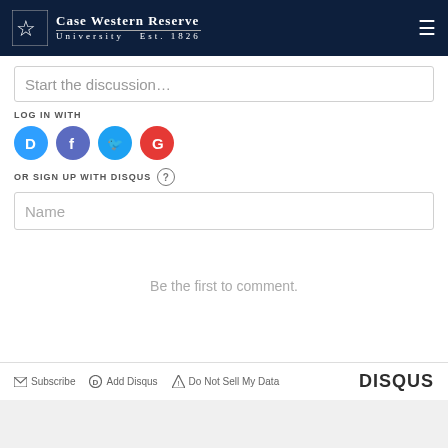Case Western Reserve University Est. 1826
Start the discussion…
LOG IN WITH
[Figure (logo): Social login icons: Disqus (blue), Facebook (purple-blue), Twitter (light blue), Google (red)]
OR SIGN UP WITH DISQUS ?
Name
Be the first to comment.
Subscribe  Add Disqus  Do Not Sell My Data  DISQUS